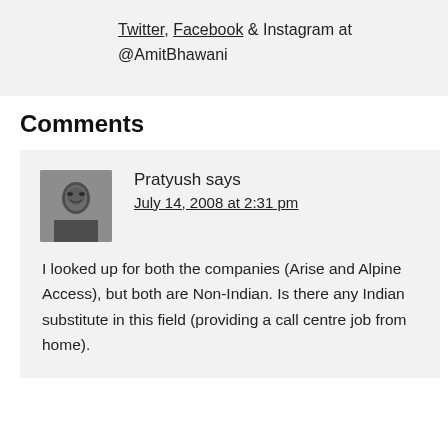Twitter, Facebook & Instagram at @AmitBhawani
Comments
Pratyush says
July 14, 2008 at 2:31 pm
I looked up for both the companies (Arise and Alpine Access), but both are Non-Indian. Is there any Indian substitute in this field (providing a call centre job from home).